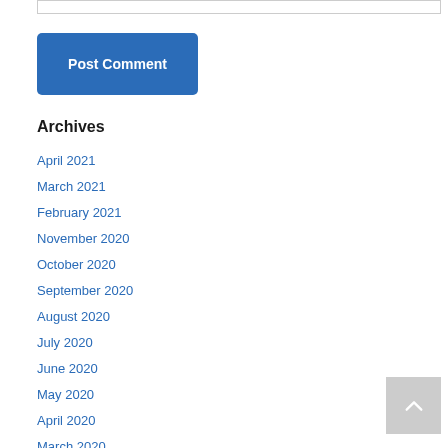[input field]
Post Comment
Archives
April 2021
March 2021
February 2021
November 2020
October 2020
September 2020
August 2020
July 2020
June 2020
May 2020
April 2020
March 2020